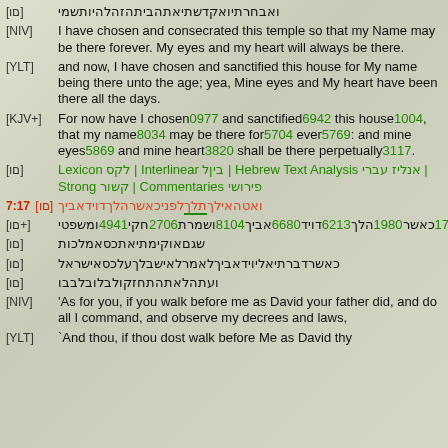[HB] Hebrew text line
[NIV] I have chosen and consecrated this temple so that my Name may be there forever. My eyes and my heart will always be there.
[YLT] and now, I have chosen and sanctified this house for My name being there unto the age; yea, Mine eyes and My heart have been there all the days.
[KJV+] For now have I chosen0977 and sanctified6942 this house1004, that my name8034 may be there for5704 ever5769: and mine eyes5869 and mine heart3820 shall be there perpetually3117.
[HB] Lexicon HB | Interlinear HB | Hebrew Text Analysis HB | Strong HB | Commentaries HB
7:17 [HB] Hebrew verse text (red)
[HB+] HB6440HB0001HB1732HB1980HB6213HB6680HB8104HB2706HB4941
[HB] Hebrew text line
[HB] Hebrew text line
[HB] Hebrew text line
[NIV] 'As for you, if you walk before me as David your father did, and do all I command, and observe my decrees and laws,
[YLT] 'And thou, if thou dost walk before Me as David thy...